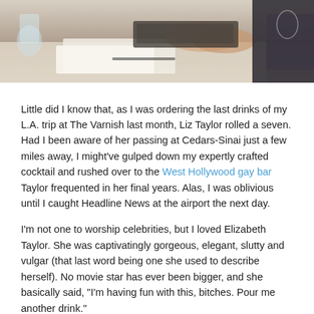[Figure (photo): Top portion of a photo showing a person's hands at a table with documents, a glass, and a pen visible]
Little did I know that, as I was ordering the last drinks of my L.A. trip at The Varnish last month, Liz Taylor rolled a seven. Had I been aware of her passing at Cedars-Sinai just a few miles away, I might've gulped down my expertly crafted cocktail and rushed over to the West Hollywood gay bar Taylor frequented in her final years. Alas, I was oblivious until I caught Headline News at the airport the next day.
I'm not one to worship celebrities, but I loved Elizabeth Taylor. She was captivatingly gorgeous, elegant, slutty and vulgar (that last word being one she used to describe herself). No movie star has ever been bigger, and she basically said, "I'm having fun with this, bitches. Pour me another drink."
An admirer of that attitude, I knocked L.A. back with gusto, not unlike the first time around. Oh my, but has the bar scene changed in five years — cocktail joints are everywhere now, and they're the place to be. So I went…
[Figure (photo): Dark photo with glowing light letters visible at bottom of page]